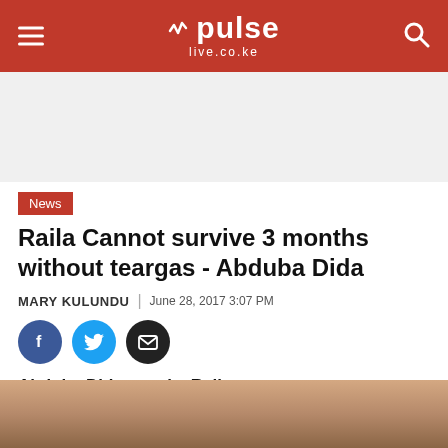pulse live.co.ke
[Figure (other): Advertisement placeholder area]
News
Raila Cannot survive 3 months without teargas - Abduba Dida
MARY KULUNDU | June 28, 2017 3:07 PM
[Figure (other): Social share icons: Facebook, Twitter, Email]
Abduba Dida attacks Raila
[Figure (photo): Partial photo of person(s), cropped at bottom of page]